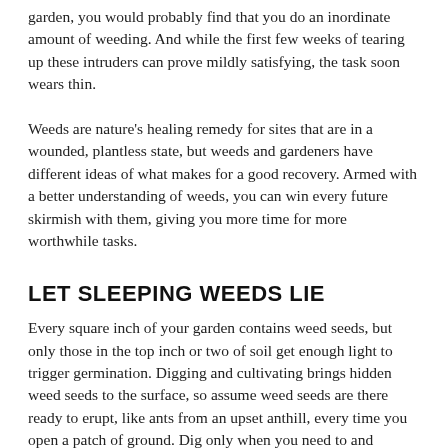garden, you would probably find that you do an inordinate amount of weeding. And while the first few weeks of tearing up these intruders can prove mildly satisfying, the task soon wears thin.
Weeds are nature's healing remedy for sites that are in a wounded, plantless state, but weeds and gardeners have different ideas of what makes for a good recovery. Armed with a better understanding of weeds, you can win every future skirmish with them, giving you more time for more worthwhile tasks.
LET SLEEPING WEEDS LIE
Every square inch of your garden contains weed seeds, but only those in the top inch or two of soil get enough light to trigger germination. Digging and cultivating brings hidden weed seeds to the surface, so assume weed seeds are there ready to erupt, like ants from an upset anthill, every time you open a patch of ground. Dig only when you need to and immediately salve the disturbed spot with plants or mulch.